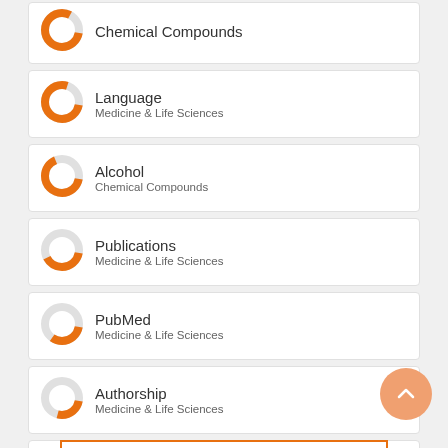Chemical Compounds
Language
Medicine & Life Sciences
Alcohol
Chemical Compounds
Publications
Medicine & Life Sciences
PubMed
Medicine & Life Sciences
Authorship
Medicine & Life Sciences
Stereotyping
Medicine & Life Sciences